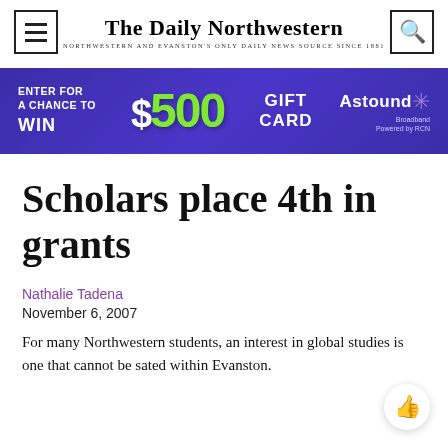The Daily Northwestern — NORTHWESTERN AND EVANSTON'S ONLY DAILY NEWS SOURCE SINCE 1881
[Figure (infographic): Advertisement banner: Enter for a chance to win $500 gift card — Astound Broadband Powered by RCN]
Scholars place 4th in grants
Nathalie Tadena
November 6, 2007
For many Northwestern students, an interest in global studies is one that cannot be sated within Evanston.